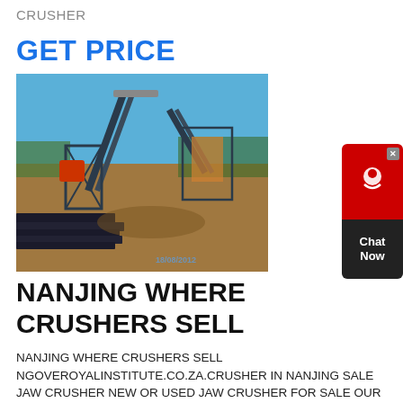CRUSHER
GET PRICE
[Figure (photo): Outdoor industrial crushing plant with conveyor belts, metal structures and machinery on a dirt construction site. Timestamp 18/08/2012 visible.]
NANJING WHERE CRUSHERS SELL
NANJING WHERE CRUSHERS SELL NGOVEROYALINSTITUTE.CO.ZA.CRUSHER IN NANJING SALE JAW CRUSHER NEW OR USED JAW CRUSHER FOR SALE OUR CRUSHING PLANT MANUFACTURERS.NANJING CRUSHING GRINDING EQUIPMENT.NANJING WHERE CRUSHERS SELL